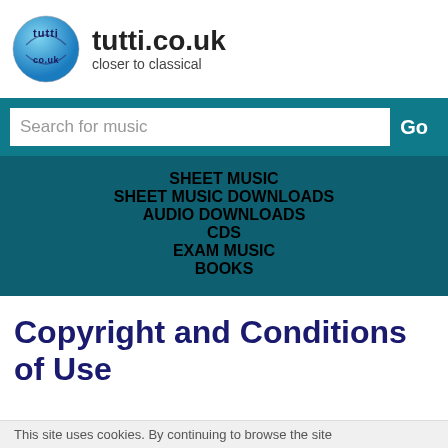[Figure (logo): Tutti.co.uk logo — blue sphere with 'tutti co.uk' text, beside site name 'tutti.co.uk' and tagline 'closer to classical']
Search for music
SHEET MUSIC
SHEET MUSIC DOWNLOADS
AUDIO DOWNLOADS
CDS
EXAM MUSIC
BOOKS
Copyright and Conditions of Use
This site uses cookies. By continuing to browse the site